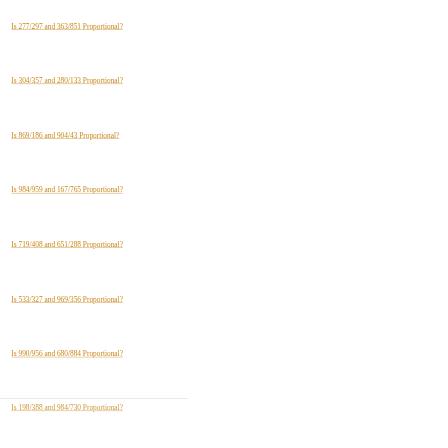Is 277/297 and 363/851 Proportional?
Is 304/357 and 280/133 Proportional?
Is 869/186 and 904/43 Proportional?
Is 984/959 and 167/765 Proportional?
Is 719/408 and 651/288 Proportional?
Is 533/327 and 969/356 Proportional?
Is 990/956 and 680/884 Proportional?
Is 198/388 and 984/730 Proportional?